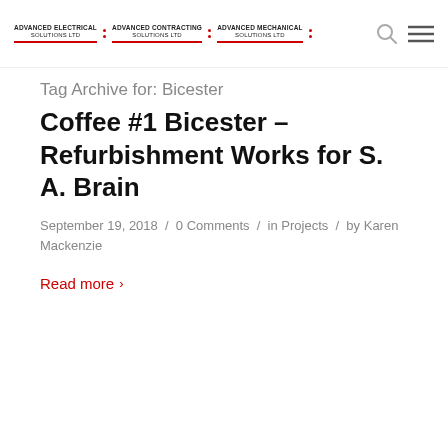Advanced Electrical Solutions Ltd · Advanced Contracting Solutions Ltd · Advanced Mechanical Solutions Ltd
Tag Archive for: Bicester
Coffee #1 Bicester – Refurbishment Works for S. A. Brain
September 19, 2018 / 0 Comments / in Projects / by Karen Mackenzie
Read more >